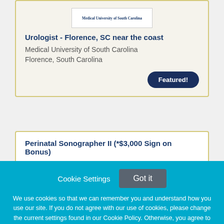[Figure (logo): Medical University of South Carolina logo/wordmark]
Urologist - Florence, SC near the coast
Medical University of South Carolina
Florence, South Carolina
Featured!
Perinatal Sonographer II (*$3,000 Sign on Bonus)
Cookie Settings
Got it
We use cookies so that we can remember you and understand how you use our site. If you do not agree with our use of cookies, please change the current settings found in our Cookie Policy. Otherwise, you agree to the use of the cookies as they are currently set.